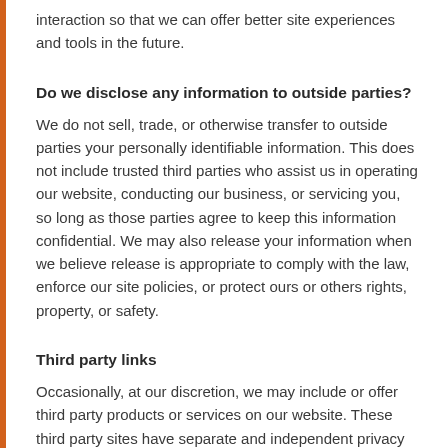interaction so that we can offer better site experiences and tools in the future.
Do we disclose any information to outside parties?
We do not sell, trade, or otherwise transfer to outside parties your personally identifiable information. This does not include trusted third parties who assist us in operating our website, conducting our business, or servicing you, so long as those parties agree to keep this information confidential. We may also release your information when we believe release is appropriate to comply with the law, enforce our site policies, or protect ours or others rights, property, or safety.
Third party links
Occasionally, at our discretion, we may include or offer third party products or services on our website. These third party sites have separate and independent privacy policies. We therefore have no responsibility or liability for the content and activities of these linked sites. Nonetheless, we seek to protect the integrity of our